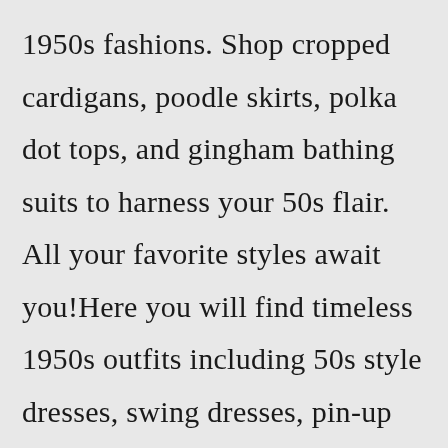1950s fashions. Shop cropped cardigans, poodle skirts, polka dot tops, and gingham bathing suits to harness your 50s flair. All your favorite styles await you!Here you will find timeless 1950s outfits including 50s style dresses, swing dresses, pin-up clothing and vintage-inspired items including tops, skirts, bottoms, shoes and accessories that will leave you feeling like Rita Hayworth and Marilyn Monroe! You'll make heads